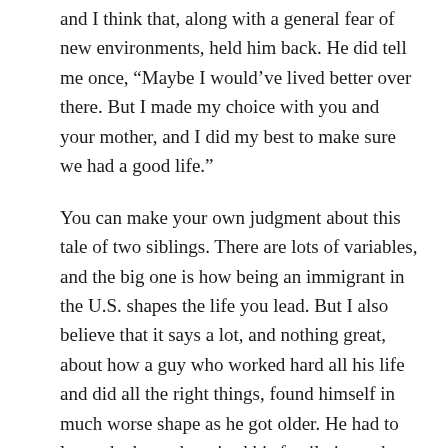and I think that, along with a general fear of new environments, held him back. He did tell me once, “Maybe I would’ve lived better over there. But I made my choice with you and your mother, and I did my best to make sure we had a good life.”
You can make your own judgment about this tale of two siblings. There are lots of variables, and the big one is how being an immigrant in the U.S. shapes the life you lead. But I also believe that it says a lot, and nothing great, about how a guy who worked hard all his life and did all the right things, found himself in much worse shape as he got older. He had to leave the home he raised his family in, and ended up living in a much harsher environment just to make ends meet.